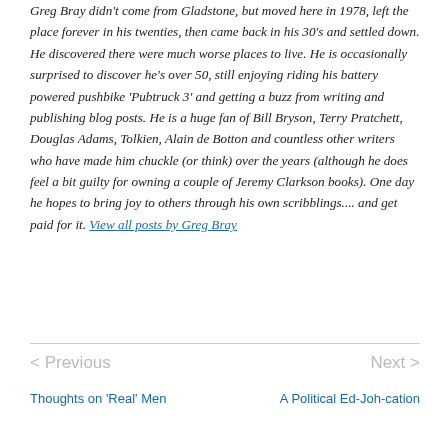Greg Bray didn't come from Gladstone, but moved here in 1978, left the place forever in his twenties, then came back in his 30's and settled down. He discovered there were much worse places to live. He is occasionally surprised to discover he's over 50, still enjoying riding his battery powered pushbike 'Pubtruck 3' and getting a buzz from writing and publishing blog posts. He is a huge fan of Bill Bryson, Terry Pratchett, Douglas Adams, Tolkien, Alain de Botton and countless other writers who have made him chuckle (or think) over the years (although he does feel a bit guilty for owning a couple of Jeremy Clarkson books). One day he hopes to bring joy to others through his own scribblings.... and get paid for it. View all posts by Greg Bray
< Previous | Next >
Thoughts on 'Real' Men
A Political Ed-Joh-cation